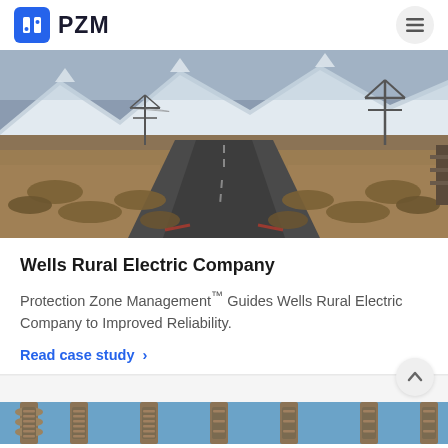PZM
[Figure (photo): A road stretching into the distance through desert scrubland with snow-capped mountains on the horizon and power line towers visible on the right side]
Wells Rural Electric Company
Protection Zone Management™ Guides Wells Rural Electric Company to Improved Reliability.
Read case study ›
[Figure (photo): Partial view of electrical substation equipment — insulators and transformer hardware visible against a blue sky]